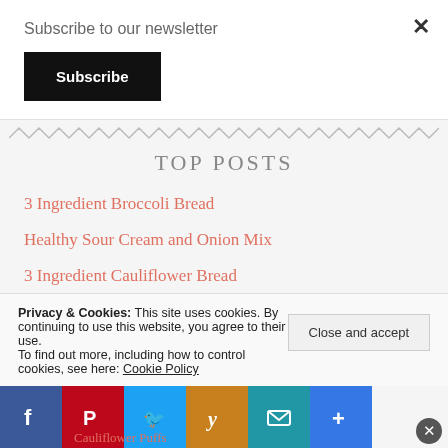Subscribe to our newsletter
Subscribe
×
TOP POSTS
3 Ingredient Broccoli Bread
Healthy Sour Cream and Onion Mix
3 Ingredient Cauliflower Bread
Privacy & Cookies: This site uses cookies. By continuing to use this website, you agree to their use.
To find out more, including how to control cookies, see here: Cookie Policy
Close and accept
Cauliflower Puffs